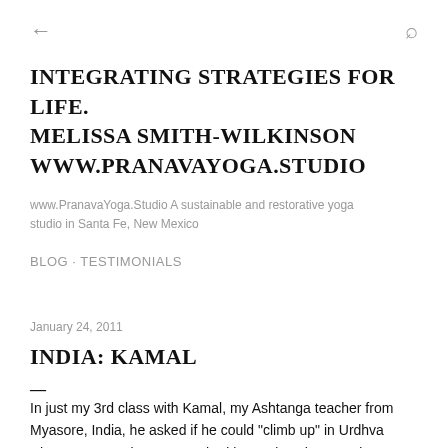← [back] [search]
INTEGRATING STRATEGIES FOR LIFE. MELISSA SMITH-WILKINSON WWW.PRANAVAYOGA.STUDIO
www.PranavaYoga.Studio A sustainable and restorative yoga studio in Santa Fe, New Mexico
BLOG · TESTIMONIALS
January 24, 2011
INDIA: KAMAL
In just my 3rd class with Kamal, my Ashtanga teacher from Myasore, India, he asked if he could "climb up" in Urdhva Dhanurasana. Ah, no. I watched instead, as he tested a student's strength, putting his hands on the rim of their ASIS